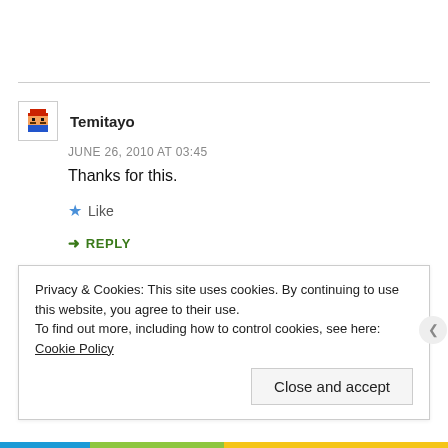Temitayo
JUNE 26, 2010 AT 03:45
Thanks for this.
Like
REPLY
Privacy & Cookies: This site uses cookies. By continuing to use this website, you agree to their use. To find out more, including how to control cookies, see here: Cookie Policy
Close and accept